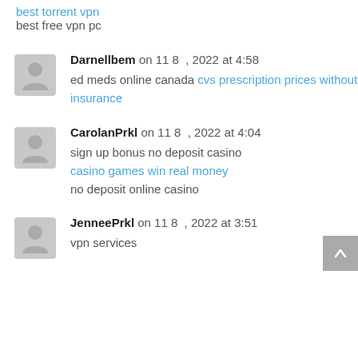best torrent vpn
best free vpn pc
Darnellbem on 11 8 , 2022 at 4:58
ed meds online canada cvs prescription prices without insurance
CarolanPrkl on 11 8 , 2022 at 4:04
sign up bonus no deposit casino casino games win real money no deposit online casino
JenneePrkl on 11 8 , 2022 at 3:51
vpn services